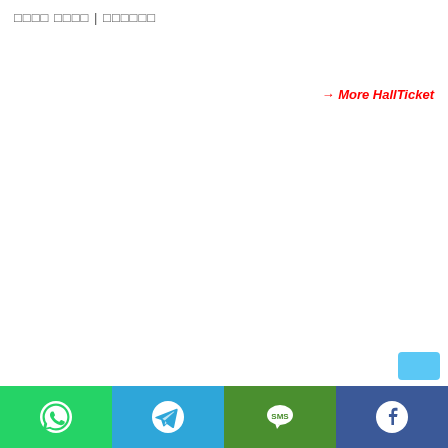□□□□ □□□□ | □□□□□□
→ More HallTicket
[Figure (infographic): Bottom social sharing bar with WhatsApp (green), Telegram (blue), SMS (dark green), Facebook (dark blue) icons]